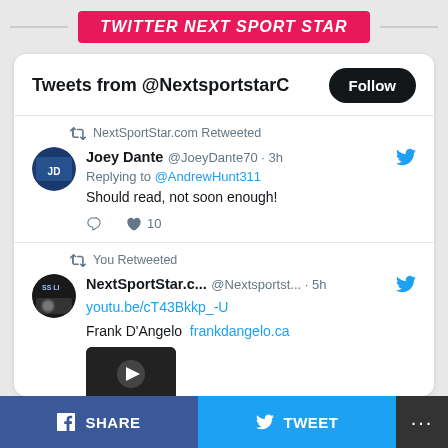TWITTER NEXT SPORT STAR
Tweets from @NextsportstarC
NextSportStar.com Retweeted
Joey Dante @JoeyDante70 · 3h
Replying to @AndrewHunt311
Should read, not soon enough!
You Retweeted
NextSportStar.c... @Nextsportst... · 5h
youtu.be/cT43Bkkp_-U
Frank D'Angelo  frankdangelo.ca